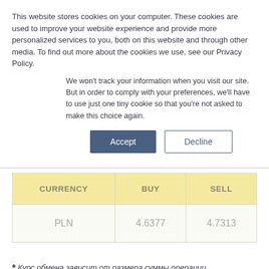This website stores cookies on your computer. These cookies are used to improve your website experience and provide more personalized services to you, both on this website and through other media. To find out more about the cookies we use, see our Privacy Policy.
We won't track your information when you visit our site. But in order to comply with your preferences, we'll have to use just one tiny cookie so that you're not asked to make this choice again.
Accept | Decline
| CURRENCY | BUY | SELL |
| --- | --- | --- |
| PLN | 4.6377 | 4.7313 |
* Курс обмена зависит от размера суммы операции.